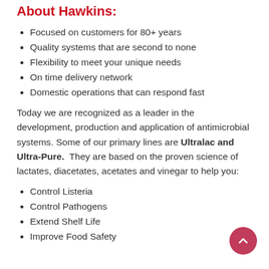About Hawkins:
Focused on customers for 80+ years
Quality systems that are second to none
Flexibility to meet your unique needs
On time delivery network
Domestic operations that can respond fast
Today we are recognized as a leader in the development, production and application of antimicrobial systems. Some of our primary lines are Ultralac and Ultra-Pure.  They are based on the proven science of lactates, diacetates, acetates and vinegar to help you:
Control Listeria
Control Pathogens
Extend Shelf Life
Improve Food Safety